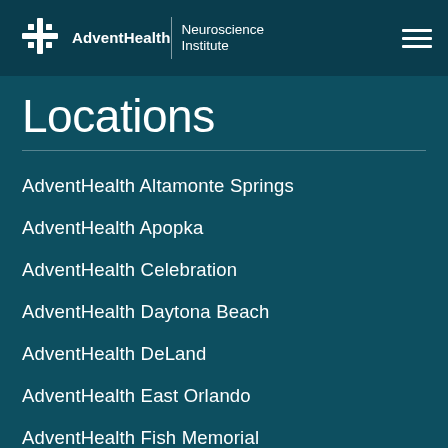AdventHealth | Neuroscience Institute
Locations
AdventHealth Altamonte Springs
AdventHealth Apopka
AdventHealth Celebration
AdventHealth Daytona Beach
AdventHealth DeLand
AdventHealth East Orlando
AdventHealth Fish Memorial